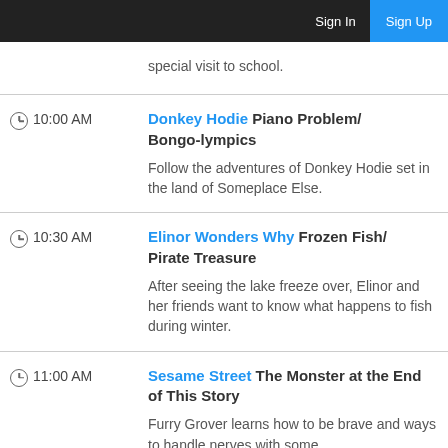Sign In  Sign Up
special visit to school.
10:00 AM  Donkey Hodie Piano Problem/Bongo-lympics
Follow the adventures of Donkey Hodie set in the land of Someplace Else.
10:30 AM  Elinor Wonders Why Frozen Fish/Pirate Treasure
After seeing the lake freeze over, Elinor and her friends want to know what happens to fish during winter.
11:00 AM  Sesame Street The Monster at the End of This Story
Furry Grover learns how to be brave and ways to handle nerves with some